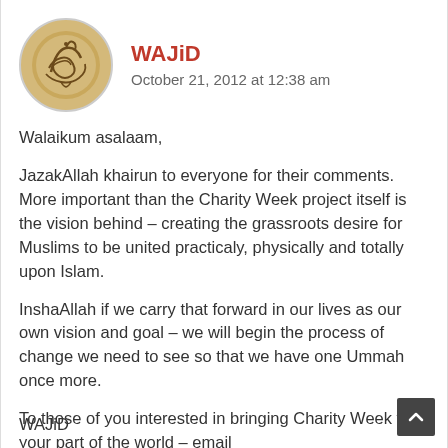WAJiD
October 21, 2012 at 12:38 am
Walaikum asalaam,
JazakAllah khairun to everyone for their comments. More important than the Charity Week project itself is the vision behind – creating the grassroots desire for Muslims to be united practicaly, physically and totally upon Islam.
InshaAllah if we carry that forward in our lives as our own vision and goal – we will begin the process of change we need to see so that we have one Ummah once more.
To those of you interested in bringing Charity Week to your part of the world – email info@onecharityweek.com and we will be in touch with you shortly inshaAllah
WAJiD